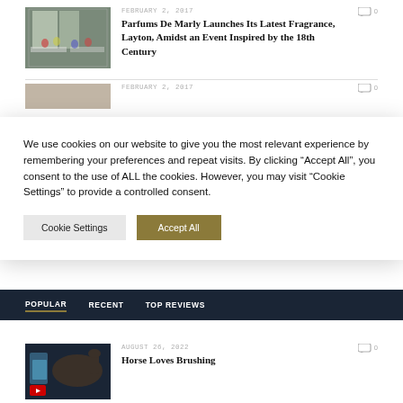[Figure (photo): Photo of people at an event/restaurant interior with large windows]
FEBRUARY 2, 2017
0
Parfums De Marly Launches Its Latest Fragrance, Layton, Amidst an Event Inspired by the 18th Century
[Figure (photo): Partially visible photo, cropped]
FEBRUARY 2, 2017
0
We use cookies on our website to give you the most relevant experience by remembering your preferences and repeat visits. By clicking “Accept All”, you consent to the use of ALL the cookies. However, you may visit “Cookie Settings” to provide a controlled consent.
Cookie Settings
Accept All
POPULAR   RECENT   TOP REVIEWS
[Figure (photo): Photo of a person brushing a horse, with a red YouTube play button overlay in the corner]
AUGUST 26, 2022
0
Horse Loves Brushing